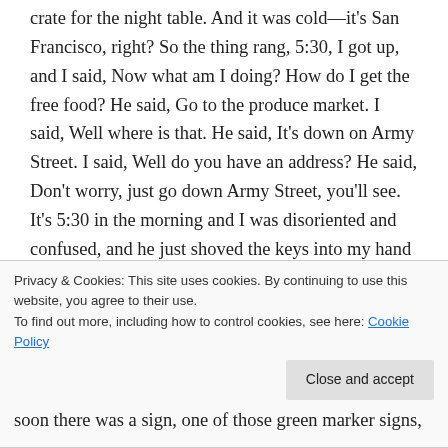My room just had a pallet on the floor, and an orange crate for the night table. And it was cold—it's San Francisco, right? So the thing rang, 5:30, I got up, and I said, Now what am I doing? How do I get the free food? He said, Go to the produce market. I said, Well where is that. He said, It's down on Army Street. I said, Well do you have an address? He said, Don't worry, just go down Army Street, you'll see. It's 5:30 in the morning and I was disoriented and confused, and he just shoved the keys into my hand and pushed me out the door.
It was still dark. I staggered down, started up the bus
Privacy & Cookies: This site uses cookies. By continuing to use this website, you agree to their use.
To find out more, including how to control cookies, see here: Cookie Policy
soon there was a sign, one of those green marker signs,